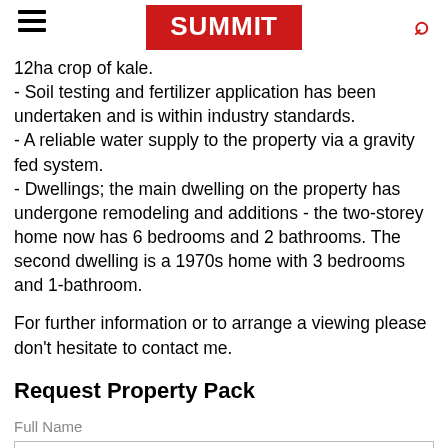Summit
12ha crop of kale.
- Soil testing and fertilizer application has been undertaken and is within industry standards.
- A reliable water supply to the property via a gravity fed system.
- Dwellings; the main dwelling on the property has undergone remodeling and additions - the two-storey home now has 6 bedrooms and 2 bathrooms. The second dwelling is a 1970s home with 3 bedrooms and 1-bathroom.
For further information or to arrange a viewing please don't hesitate to contact me.
Request Property Pack
Full Name
Email